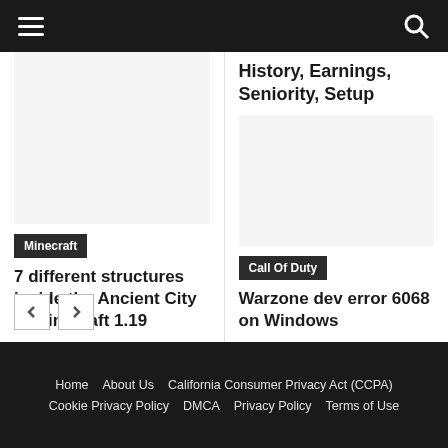Navigation bar with hamburger menu and search icon
History, Earnings, Seniority, Setup
[Figure (photo): Blank/white image placeholder for Minecraft article]
Minecraft
7 different structures inside the Ancient City in Minecraft 1.19
[Figure (photo): Blank/white image placeholder for Call Of Duty article]
Call Of Duty
Warzone dev error 6068 on Windows
Home  About Us  California Consumer Privacy Act (CCPA)  Cookie Privacy Policy  DMCA  Privacy Policy  Terms of Use